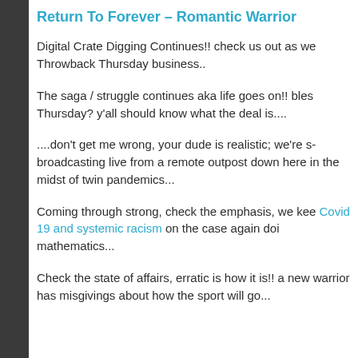Return To Forever – Romantic Warrior
Digital Crate Digging Continues!! check us out as we Throwback Thursday business..
The saga / struggle continues aka life goes on!! bles Thursday? y'all should know what the deal is....
....don't get me wrong, your dude is realistic; we're s broadcasting live from a remote outpost down here in the midst of twin pandemics...
Coming through strong, check the emphasis, we kee Covid 19 and systemic racism on the case again doi mathematics...
Check the state of affairs, erratic is how it is!! a new warrior has misgivings about how the sport will go...